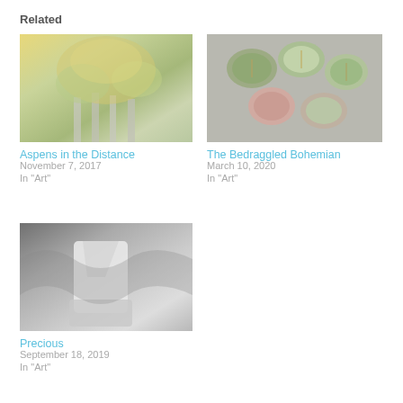Related
[Figure (photo): Artwork image showing aspens or floral scene in greens and yellows]
Aspens in the Distance
November 7, 2017
In "Art"
[Figure (photo): Decorative ceramic or polymer clay discs with tree designs in green, blue and pink tones]
The Bedraggled Bohemian
March 10, 2020
In "Art"
[Figure (photo): Abstract or sculptural artwork in grey and white tones]
Precious
September 18, 2019
In "Art"